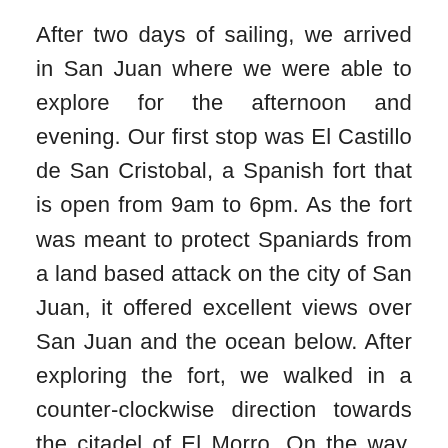After two days of sailing, we arrived in San Juan where we were able to explore for the afternoon and evening. Our first stop was El Castillo de San Cristobal, a Spanish fort that is open from 9am to 6pm. As the fort was meant to protect Spaniards from a land based attack on the city of San Juan, it offered excellent views over San Juan and the ocean below. After exploring the fort, we walked in a counter-clockwise direction towards the citadel of El Morro. On the way, we came across the municipal cemetery of Santa Maria Magdalena de Pazzis and a wonderful park, where we just sat in the grass watching kids fly kites and families picnic. As the sky turned to dusk we decided to skip El Morro and head back into town for dinner and a mojito. Puerto Rico is, after all, the home of Bacardi. I had really hoped to do a tour of the Bacardi factory while in Puerto Rico as I